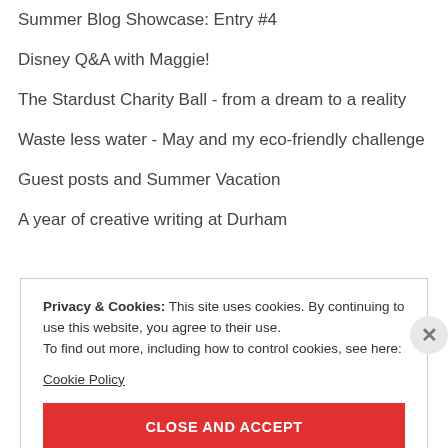Summer Blog Showcase: Entry #4
Disney Q&A with Maggie!
The Stardust Charity Ball - from a dream to a reality
Waste less water - May and my eco-friendly challenge
Guest posts and Summer Vacation
A year of creative writing at Durham
Privacy & Cookies: This site uses cookies. By continuing to use this website, you agree to their use. To find out more, including how to control cookies, see here: Cookie Policy
CLOSE AND ACCEPT